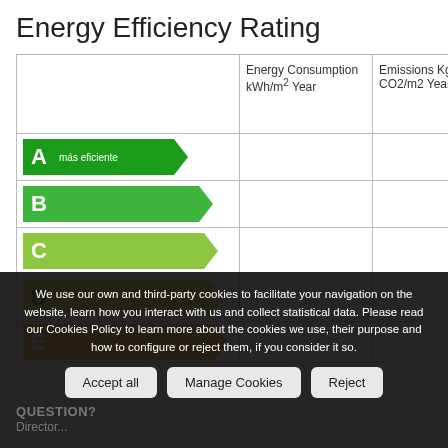Energy Efficiency Rating
|  | Energy Consumption kWh/m² Year | Emissions Kg CO2/m2 Year |
| --- | --- | --- |
| A más eficiente |  |  |
| B |  |  |
| C |  |  |
| D |  |  |
| E |  |  |
We use our own and third-party cookies to facilitate your navigation on the website, learn how you interact with us and collect statistical data. Please read our Cookies Policy to learn more about the cookies we use, their purpose and how to configure or reject them, if you consider it so.
QUESTION?
Accept all   Manage Cookies   Reject